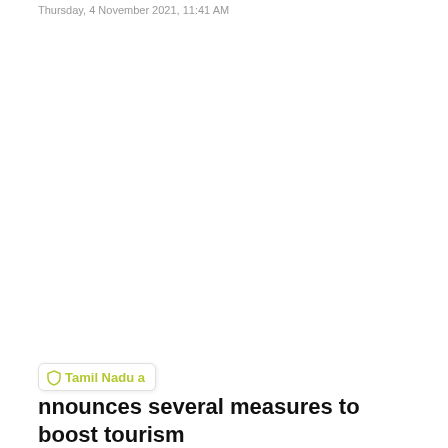Thursday, 4 November 2021, 11:41 AM
Tamil Nadu announces several measures to boost tourism